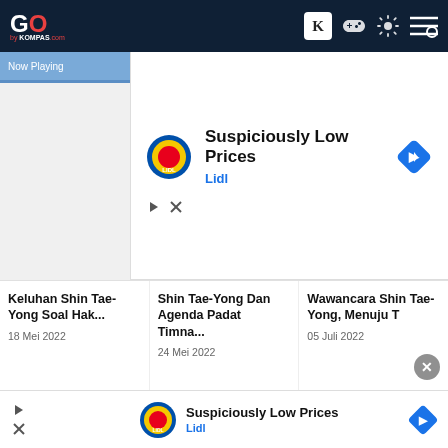GO by KOMPAS.com
[Figure (screenshot): Lidl advertisement banner: Suspiciously Low Prices - Lidl]
Keluhan Shin Tae-Yong Soal Hak...
18 Mei 2022
Shin Tae-Yong Dan Agenda Padat Timna...
24 Mei 2022
Wawancara Shin Tae-Yong, Menuju T
05 Juli 2022
Iklan – Scroll ke bawah untuk melanjutkan
[Figure (screenshot): Lidl advertisement banner at bottom: Suspiciously Low Prices - Lidl]